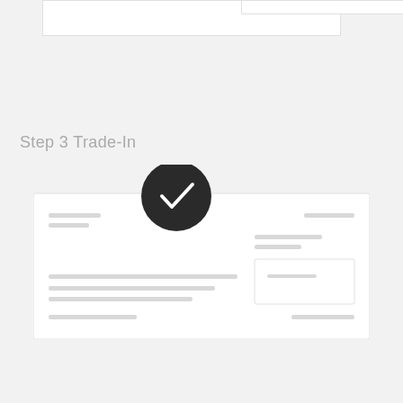Step 3 Trade-In
[Figure (illustration): A UI mockup showing a card with a large dark circle containing a white checkmark overlaid on top of it. The card contains several placeholder gray lines representing form fields or content. There is a smaller white box in the right portion of the card. The background is light gray. At the top there are partial white rectangular UI elements.]